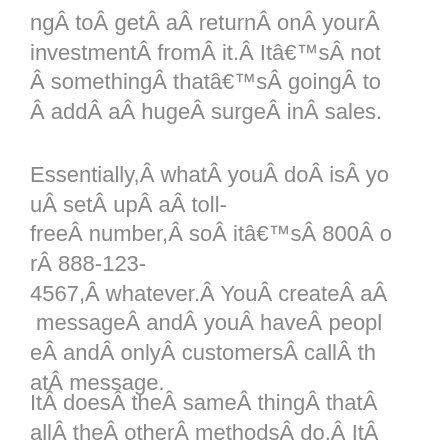ngÂ toÂ getÂ aÂ returnÂ onÂ yourÂ investmentÂ fromÂ it.Â Itâ€™sÂ not Â somethingÂ thatâ€™sÂ goingÂ to Â addÂ aÂ hugeÂ surgeÂ inÂ sales.
Essentially,Â whatÂ youÂ doÂ isÂ youÂ setÂ upÂ aÂ toll-freeÂ number,Â soÂ itâ€™sÂ 800Â orÂ 888-123-4567,Â whatever.Â YouÂ createÂ aÂ messageÂ andÂ youÂ haveÂ peopleÂ andÂ onlyÂ customersÂ callÂ thatÂ message.
ItÂ doesÂ theÂ sameÂ thingÂ thatÂ allÂ theÂ otherÂ methodsÂ do.Â ItÂ